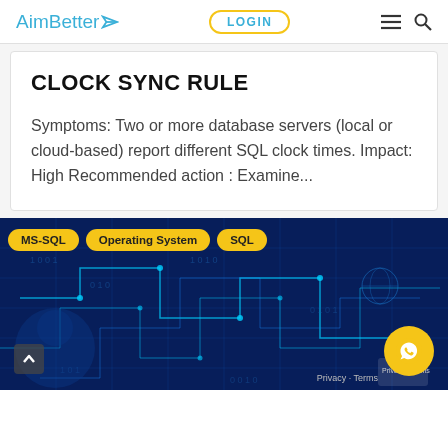AimBetter | LOGIN
CLOCK SYNC RULE
Symptoms: Two or more database servers (local or cloud-based) report different SQL clock times. Impact: High Recommended action : Examine...
[Figure (screenshot): Bottom banner with tech background (blue circuit/digital imagery), tags: MS-SQL, Operating System, SQL, and a WhatsApp chat button]